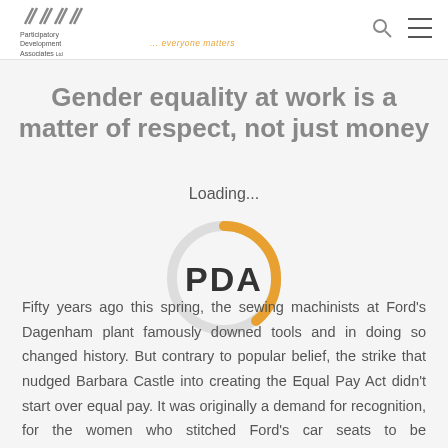Participatory Development Associates Ltd ... everyone matters
Gender equality at work is a matter of respect, not just money
[Figure (other): Loading spinner with PDA text overlay — circular arc spinner in light grey and orange, with 'PDA' text in bold dark overlay and 'Loading...' text above]
Fifty years ago this spring, the sewing machinists at Ford's Dagenham plant famously downed tools and in doing so changed history. But contrary to popular belief, the strike that nudged Barbara Castle into creating the Equal Pay Act didn't start over equal pay. It was originally a demand for recognition, for the women who stitched Ford's car seats to be acknowledged for what they really